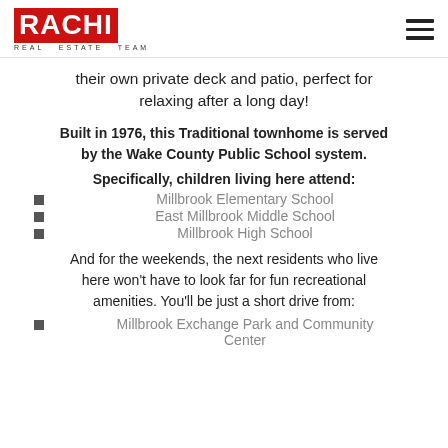RACHM REAL ESTATE TEAM
their own private deck and patio, perfect for relaxing after a long day!
Built in 1976, this Traditional townhome is served by the Wake County Public School system.
Specifically, children living here attend:
Millbrook Elementary School
East Millbrook Middle School
Millbrook High School
And for the weekends, the next residents who live here won't have to look far for fun recreational amenities. You'll be just a short drive from:
Millbrook Exchange Park and Community Center